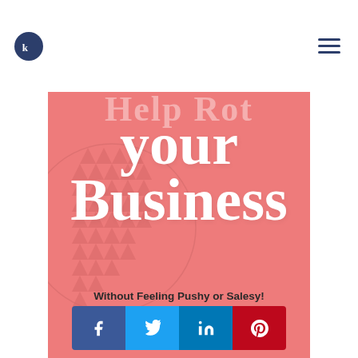Website header with logo and navigation menu icon
[Figure (illustration): Coral/salmon colored banner image with decorative geometric circle pattern on the left. Large cursive white text reads 'your Business' (with partial text cut off at top reading words above). Below in dark text: 'Without Feeling Pushy or Salesy!']
[Figure (infographic): Social sharing button bar with Facebook (blue), Twitter (light blue), LinkedIn (dark blue), and Pinterest (red) icons]